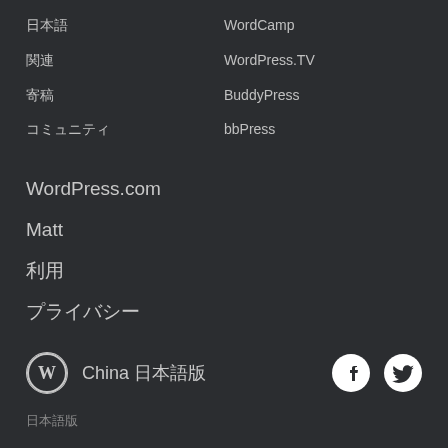日本語
WordCamp
関連
WordPress.TV
寄稿
BuddyPress
コミュニティ
bbPress
WordPress.com
Matt
利用
プライバシー
China 日本語版
日本語版